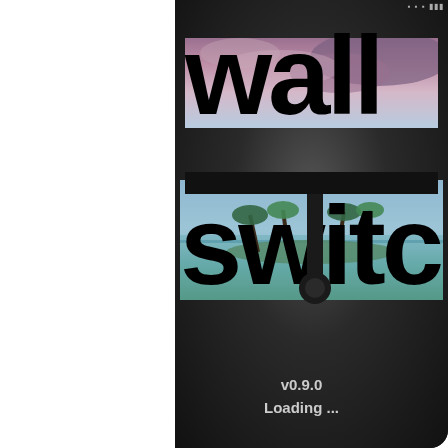[Figure (screenshot): Mobile app splash screen for 'wall switch' app. Shows app logo with 'wall' text overlaid on a sunset/cloudy sky image strip, and 'switch' text overlaid on a tropical beach/palm trees image strip, with a toggle switch graphic integrated into the letter 't'. Below is version text 'v0.9.0' and 'Loading ...' on a dark background. Left portion of page is white (document margin).]
wall
switch
v0.9.0
Loading ...